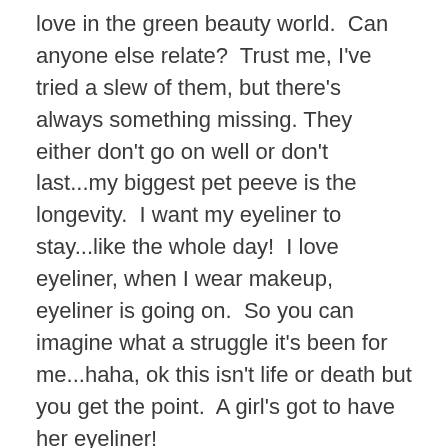love in the green beauty world.  Can anyone else relate?  Trust me, I've tried a slew of them, but there's always something missing. They either don't go on well or don't last...my biggest pet peeve is the longevity.  I want my eyeliner to stay...like the whole day!  I love eyeliner, when I wear makeup, eyeliner is going on.  So you can imagine what a struggle it's been for me...haha, ok this isn't life or death but you get the point.  A girl's got to have her eyeliner!
Do you know what's in conventional eyeliners?  Scary stuff, like mineral oil, parabens, propylene glycol, 1,4 dioxane and some even have DMDM- oh you know just the stuff that releases formaldehyde when it comes in contact with the